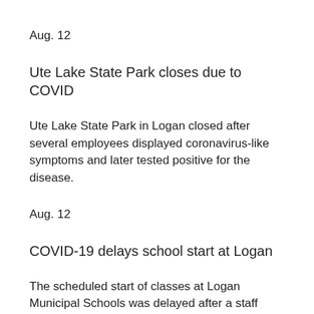Aug. 12
Ute Lake State Park closes due to COVID
Ute Lake State Park in Logan closed after several employees displayed coronavirus-like symptoms and later tested positive for the disease.
Aug. 12
COVID-19 delays school start at Logan
The scheduled start of classes at Logan Municipal Schools was delayed after a staff member tested positive for COVID-19 and two other staff members showed symptoms.